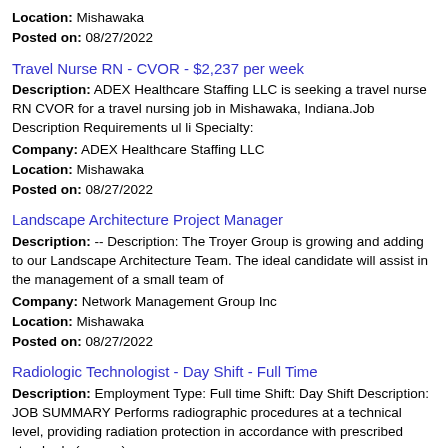Location: Mishawaka
Posted on: 08/27/2022
Travel Nurse RN - CVOR - $2,237 per week
Description: ADEX Healthcare Staffing LLC is seeking a travel nurse RN CVOR for a travel nursing job in Mishawaka, Indiana.Job Description Requirements ul li Specialty:
Company: ADEX Healthcare Staffing LLC
Location: Mishawaka
Posted on: 08/27/2022
Landscape Architecture Project Manager
Description: -- Description: The Troyer Group is growing and adding to our Landscape Architecture Team. The ideal candidate will assist in the management of a small team of
Company: Network Management Group Inc
Location: Mishawaka
Posted on: 08/27/2022
Radiologic Technologist - Day Shift - Full Time
Description: Employment Type: Full time Shift: Day Shift Description: JOB SUMMARY Performs radiographic procedures at a technical level, providing radiation protection in accordance with prescribed standards (more...)